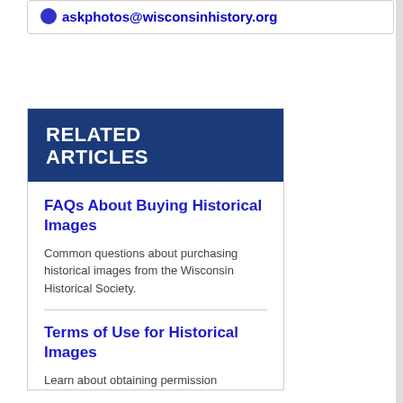askphotos@wisconsinhistory.org
RELATED ARTICLES
FAQs About Buying Historical Images
Common questions about purchasing historical images from the Wisconsin Historical Society.
Terms of Use for Historical Images
Learn about obtaining permission